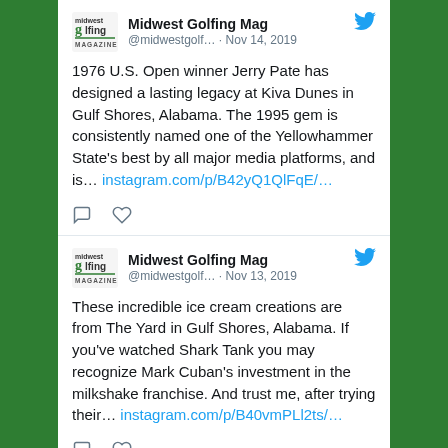Midwest Golfing Mag @midwestgolf… · Nov 14, 2019

1976 U.S. Open winner Jerry Pate has designed a lasting legacy at Kiva Dunes in Gulf Shores, Alabama. The 1995 gem is consistently named one of the Yellowhammer State's best by all major media platforms, and is… instagram.com/p/B42yQ1QlFqE/…
Midwest Golfing Mag @midwestgolf… · Nov 13, 2019

These incredible ice cream creations are from The Yard in Gulf Shores, Alabama. If you've watched Shark Tank you may recognize Mark Cuban's investment in the milkshake franchise. And trust me, after trying their… instagram.com/p/B40vmPLl2ts/…